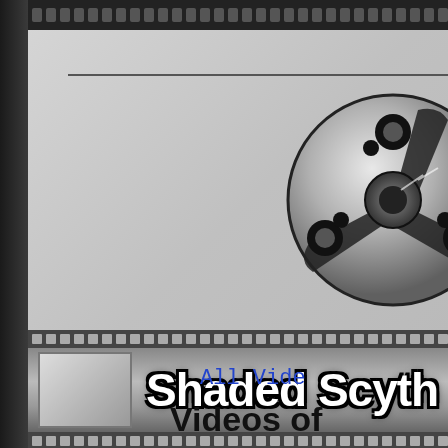[Figure (logo): Shaded Scythe website header with filmstrip design, film reel icon, and text 'Shaded Scythe']
All Vide...
Videos of